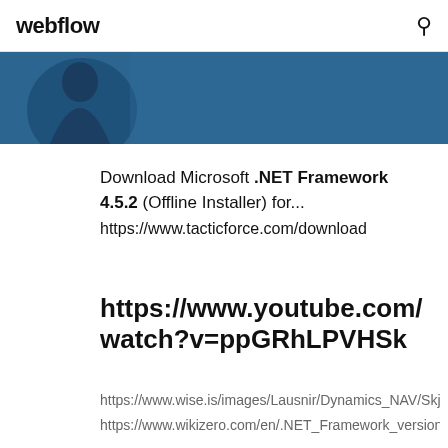webflow
[Figure (screenshot): Webflow website header with blue banner containing a partial image of a figure/globe in the upper left area]
Download Microsoft .NET Framework 4.5.2 (Offline Installer) for...
https://www.tacticforce.com/download
https://www.youtube.com/watch?v=ppGRhLPVHSk
https://www.wise.is/images/Lausnir/Dynamics_NAV/Skjc
https://www.wikizero.com/en/.NET_Framework_version...